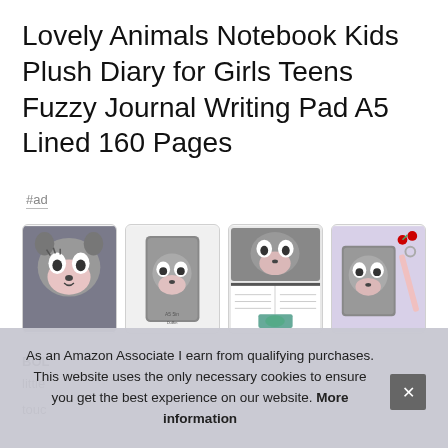Lovely Animals Notebook Kids Plush Diary for Girls Teens Fuzzy Journal Writing Pad A5 Lined 160 Pages
#ad
[Figure (photo): Four product images of a grey plush fuzzy animal-face notebook/journal shown from different angles]
BOL
little
touc
As an Amazon Associate I earn from qualifying purchases. This website uses the only necessary cookies to ensure you get the best experience on our website. More information